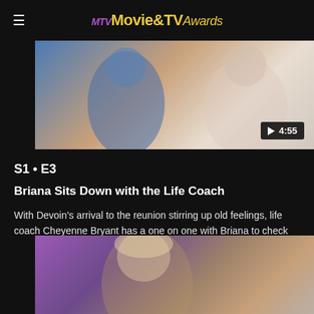MTV Movie & TV Awards
[Figure (screenshot): Video thumbnail showing two people, one in a blue top, with a play button badge showing 4:55]
S1 • E3
Briana Sits Down with the Life Coach
With Devoin's arrival to the reunion stirring up old feelings, life coach Cheyenne Bryant has a one on one with Briana to check how she's doing.
01/25/2022
[Figure (screenshot): Video thumbnail showing a young blonde woman against a purple/desert background]